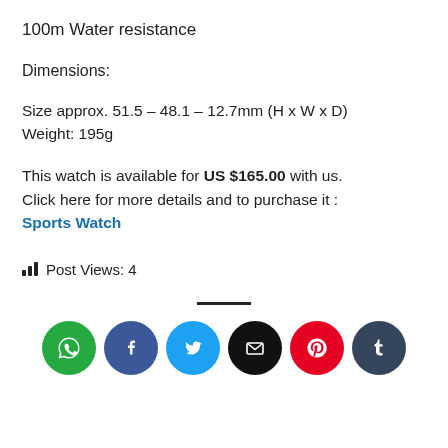100m Water resistance
Dimensions:
Size approx. 51.5 – 48.1 – 12.7mm (H x W x D)
Weight: 195g
This watch is available for US $165.00 with us. Click here for more details and to purchase it : Sports Watch
Post Views: 4
[Figure (infographic): Row of six social media share icons: WhatsApp (green), Facebook (blue), Twitter (light blue), Email (black), Pinterest (red), Tumblr (dark blue-grey)]